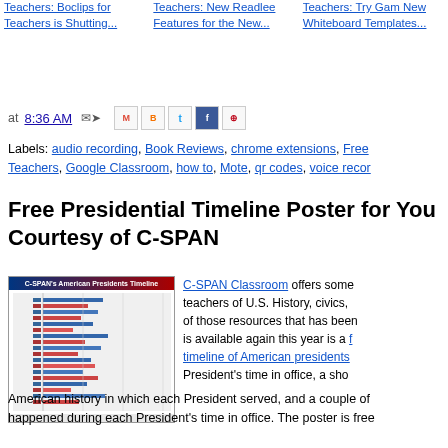Teachers: Boclips for Teachers is Shutting... | Teachers: New Readlee Features for the New... | Teachers: Try Gami New Whiteboard Templates...
at 8:36 AM
Labels: audio recording, Book Reviews, chrome extensions, Free Teachers, Google Classroom, how to, Mote, qr codes, voice reco...
Free Presidential Timeline Poster for You Courtesy of C-SPAN
[Figure (screenshot): C-SPAN's American Presidents Timeline poster thumbnail showing a colorful horizontal timeline with bars representing each president's term]
C-SPAN Classroom offers some teachers of U.S. History, civics, of those resources that has been is available again this year is a free timeline of American presidents President's time in office, a sho American history in which each President served, and a couple of happened during each President's time in office. The poster is free